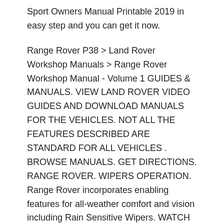Sport Owners Manual Printable 2019 in easy step and you can get it now.
Range Rover P38 > Land Rover Workshop Manuals > Range Rover Workshop Manual - Volume 1 GUIDES & MANUALS. VIEW LAND ROVER VIDEO GUIDES AND DOWNLOAD MANUALS FOR THE VEHICLES. NOT ALL THE FEATURES DESCRIBED ARE STANDARD FOR ALL VEHICLES . BROWSE MANUALS. GET DIRECTIONS. RANGE ROVER. WIPERS OPERATION. Range Rover incorporates enabling features for all-weather comfort and vision including Rain Sensitive Wipers. WATCH THE FILM. AUTO вЂ¦
DAILYALEXA.INFO Ebook and Manual Reference Land Rover Range Rover Sport Owners Manual Printable 2019 Land Rover Range Rover Sport Owners Manual Printable 2019 is most popular ebook you must read. You can get any ebooks